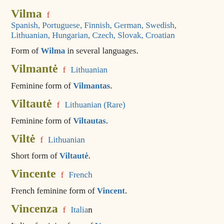Vilma  f  Spanish, Portuguese, Finnish, German, Swedish, Lithuanian, Hungarian, Czech, Slovak, Croatian
Form of Wilma in several languages.
Vilmantė  f  Lithuanian
Feminine form of Vilmantas.
Viltautė  f  Lithuanian (Rare)
Feminine form of Viltautas.
Viltė  f  Lithuanian
Short form of Viltautė.
Vincente  f  French
French feminine form of Vincent.
Vincenza  f  Italian
Italian feminine form of V...
Vinka  f  Croatian
Croatian feminine form of...
Viorela  f  Romanian